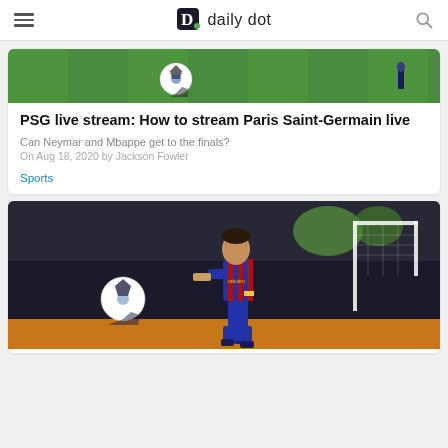daily dot
[Figure (photo): Soccer field with UEFA Champions League ball on green grass]
PSG live stream: How to stream Paris Saint-Germain live
Can Neymar and Mbappe get to the finals?
On Aug 18, 2020 by Jackson Fowler
Sports
[Figure (photo): Lionel Messi in Barcelona FC kit kicking a ball during a Champions League match, with goal post in background]